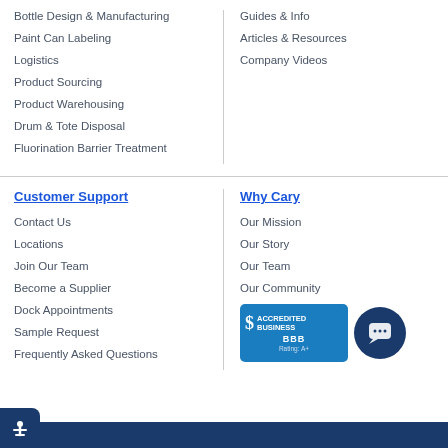Bottle Design & Manufacturing
Paint Can Labeling
Logistics
Product Sourcing
Product Warehousing
Drum & Tote Disposal
Fluorination Barrier Treatment
Guides & Info
Articles & Resources
Company Videos
Customer Support
Contact Us
Locations
Join Our Team
Become a Supplier
Dock Appointments
Sample Request
Frequently Asked Questions
Why Cary
Our Mission
Our Story
Our Team
Our Community
[Figure (logo): BBB Accredited Business badge and chat button]